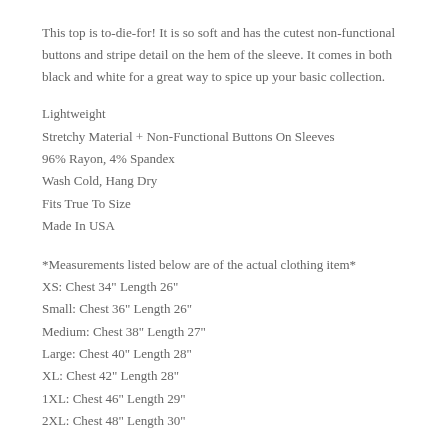This top is to-die-for! It is so soft and has the cutest non-functional buttons and stripe detail on the hem of the sleeve. It comes in both black and white for a great way to spice up your basic collection.
Lightweight
Stretchy Material + Non-Functional Buttons On Sleeves
96% Rayon, 4% Spandex
Wash Cold, Hang Dry
Fits True To Size
Made In USA
*Measurements listed below are of the actual clothing item*
XS: Chest 34" Length 26"
Small: Chest 36" Length 26"
Medium: Chest 38" Length 27"
Large: Chest 40" Length 28"
XL: Chest 42" Length 28"
1XL: Chest 46" Length 29"
2XL: Chest 48" Length 30"